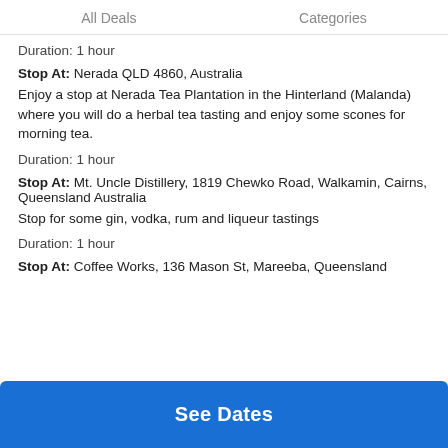All Deals   Categories
Duration: 1 hour
Stop At: Nerada QLD 4860, Australia
Enjoy a stop at Nerada Tea Plantation in the Hinterland (Malanda) where you will do a herbal tea tasting and enjoy some scones for morning tea.
Duration: 1 hour
Stop At: Mt. Uncle Distillery, 1819 Chewko Road, Walkamin, Cairns, Queensland Australia
Stop for some gin, vodka, rum and liqueur tastings
Duration: 1 hour
Stop At: Coffee Works, 136 Mason St, Mareeba, Queensland
See Dates